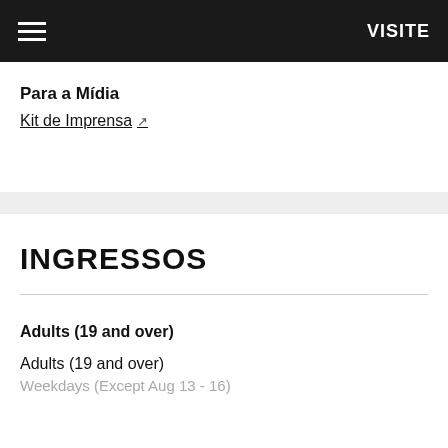VISITE
Para a Mídia
Kit de Imprensa ↗
INGRESSOS
Adults (19 and over)
Adults (19 and over)
Weekdays (Except Aug 13 - 16)